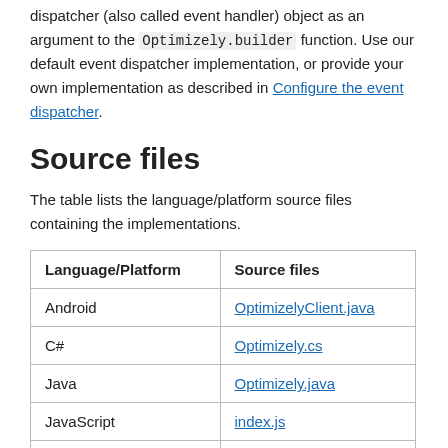dispatcher (also called event handler) object as an argument to the Optimizely.builder function. Use our default event dispatcher implementation, or provide your own implementation as described in Configure the event dispatcher.
Source files
The table lists the language/platform source files containing the implementations.
| Language/Platform | Source files |
| --- | --- |
| Android | OptimizelyClient.java |
| C# | Optimizely.cs |
| Java | Optimizely.java |
| JavaScript | index.js |
| Node | index.js |